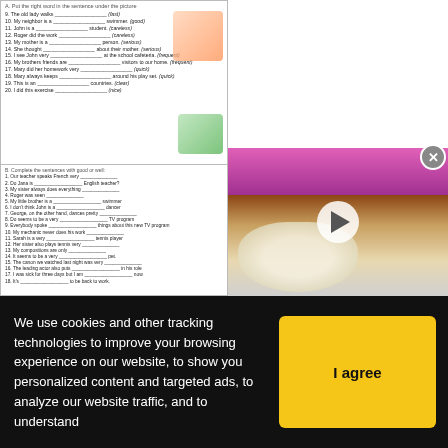[Figure (screenshot): Worksheet fill-in-the-blank exercise with numbered sentences and cartoon illustrations, top section]
[Figure (screenshot): Worksheet fill-in-the-blank exercise B with numbered sentences and cartoon illustrations, bottom section]
Comments:
EXCELLENT
Adverb or Adjective?
Level: elementary
Age: 14-17
Downloads: 736
[Figure (screenshot): Thumbnail of ADJECTIVE OR ADVERB-EXERCISES worksheet]
[Figure (photo): Video thumbnail showing a white fluffy dog with a play button overlay]
We use cookies and other tracking technologies to improve your browsing experience on our website, to show you personalized content and targeted ads, to analyze our website traffic, and to understand